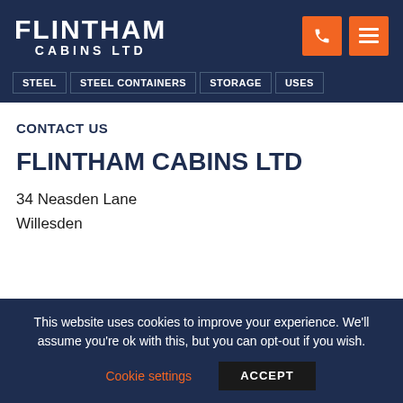FLINTHAM CABINS LTD
STEEL
STEEL CONTAINERS
STORAGE
USES
CONTACT US
FLINTHAM CABINS LTD
34 Neasden Lane
Willesden
This website uses cookies to improve your experience. We'll assume you're ok with this, but you can opt-out if you wish.
Cookie settings   ACCEPT